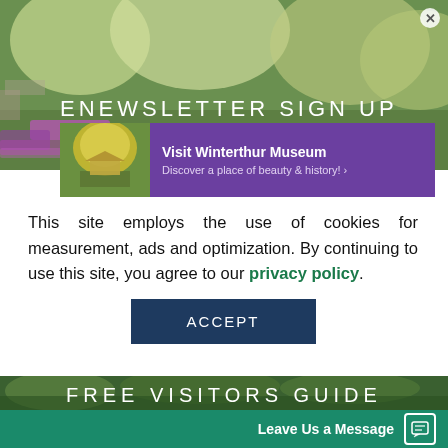[Figure (photo): Garden/museum outdoor photo background with colorful flowers and trees]
ENEWSLETTER SIGN UP
[Figure (infographic): Advertisement banner for Winterthur Museum with purple background and garden image]
Visit Winterthur Museum
Discover a place of beauty & history! ›
This site employs the use of cookies for measurement, ads and optimization. By continuing to use this site, you agree to our privacy policy.
ACCEPT
[Figure (photo): Bottom garden/park outdoor photo]
FREE VISITORS GUIDE
Leave Us a Message